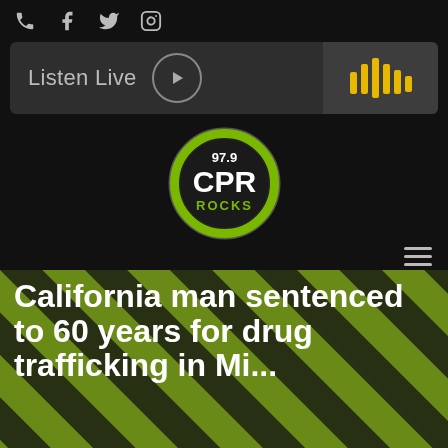Phone, Facebook, Twitter, Instagram icons
[Figure (infographic): Listen Live banner with play button and audio waveform icon]
[Figure (logo): 97.9 CPR ROCKS radio station logo — circular badge with green and white text]
California man sentenced to 60 years for drug trafficking in Mi...